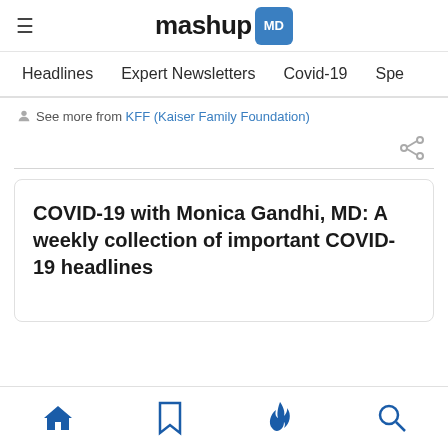mashup MD
Headlines  Expert Newsletters  Covid-19  Spe
See more from KFF (Kaiser Family Foundation)
COVID-19 with Monica Gandhi, MD: A weekly collection of important COVID-19 headlines
Home  Bookmark  Trending  Search